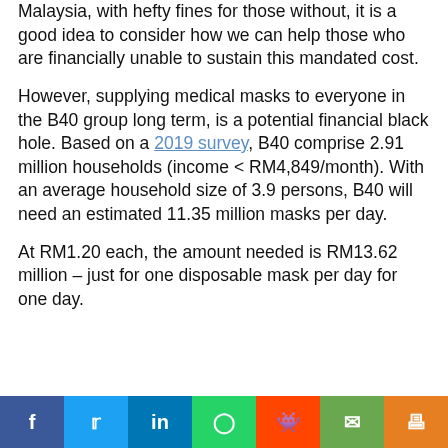Malaysia, with hefty fines for those without, it is a good idea to consider how we can help those who are financially unable to sustain this mandated cost.
However, supplying medical masks to everyone in the B40 group long term, is a potential financial black hole. Based on a 2019 survey, B40 comprise 2.91 million households (income < RM4,849/month). With an average household size of 3.9 persons, B40 will need an estimated 11.35 million masks per day.
At RM1.20 each, the amount needed is RM13.62 million – just for one disposable mask per day for one day.